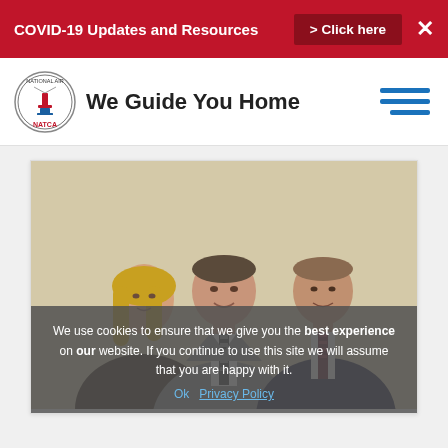COVID-19 Updates and Resources > Click here ✕
[Figure (logo): NATCA circular logo with control tower graphic and text 'NATCA' in red]
We Guide You Home
[Figure (photo): Three people posing for a photo: a woman with blonde hair on the left in a dark blazer, a tall man in the center wearing a grey suit and striped tie, and a man on the right in a dark suit with a patterned tie]
We use cookies to ensure that we give you the best experience on our website. If you continue to use this site we will assume that you are happy with it.
Ok   Privacy Policy